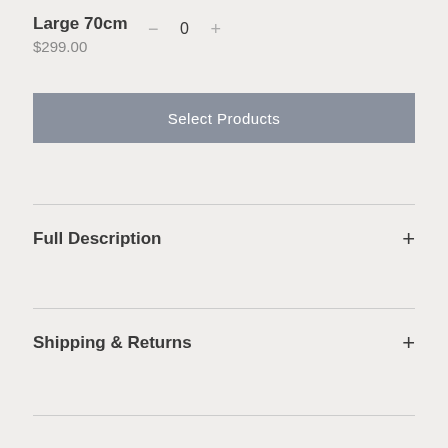Large 70cm
$299.00
− 0 +
Select Products
Full Description
Shipping & Returns